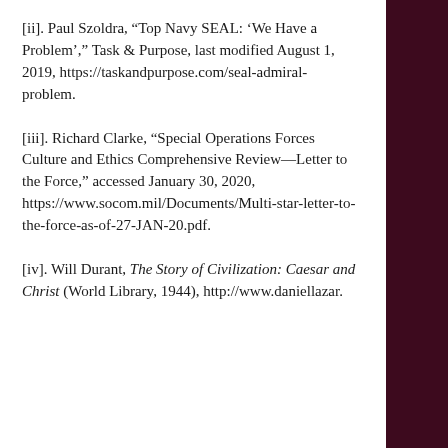[ii]. Paul Szoldra, “Top Navy SEAL: ‘We Have a Problem’,” Task & Purpose, last modified August 1, 2019, https://taskandpurpose.com/seal-admiral-problem.
[iii]. Richard Clarke, “Special Operations Forces Culture and Ethics Comprehensive Review—Letter to the Force,” accessed January 30, 2020, https://www.socom.mil/Documents/Multi-star-letter-to-the-force-as-of-27-JAN-20.pdf.
[iv]. Will Durant, The Story of Civilization: Caesar and Christ (World Library, 1944), http://www.daniellazar.